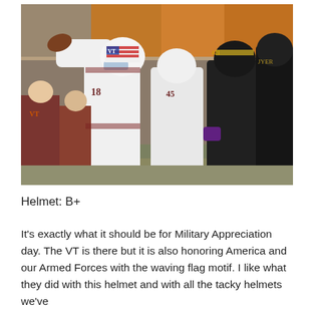[Figure (photo): Football game action photo showing a Virginia Tech quarterback in white uniform with special military appreciation day helmet (white with American flag motif) preparing to throw a pass, with offensive lineman #45 blocking a defender in black uniform (opponent team), fans and sideline staff visible in background]
Helmet: B+
It's exactly what it should be for Military Appreciation day. The VT is there but it is also honoring America and our Armed Forces with the waving flag motif. I like what they did with this helmet and with all the tacky helmets we've